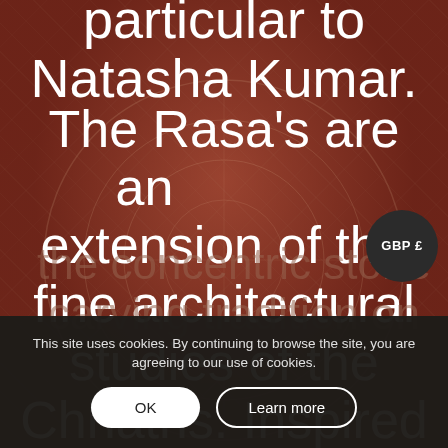[Figure (photo): Reddish-brown stone/architectural background with decorative carved patterns, partially visible text overlay]
particular to Natasha Kumar.
The Rasa's are an extension of the fine architectural studies of the Chhatris. Inspired by the concentric stone carving tradition on
GBP £
This site uses cookies. By continuing to browse the site, you are agreeing to our use of cookies.